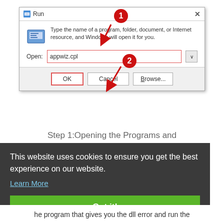[Figure (screenshot): Windows Run dialog box showing 'appwiz.cpl' typed in the Open field. Red numbered badges (1) pointing to the Open field and (2) pointing to the OK button with red arrows. The OK button is highlighted with a red border.]
Step 1:Opening the Programs and
This website uses cookies to ensure you get the best experience on our website.
Learn More
Got it!
he program that gives you the dll error and run the